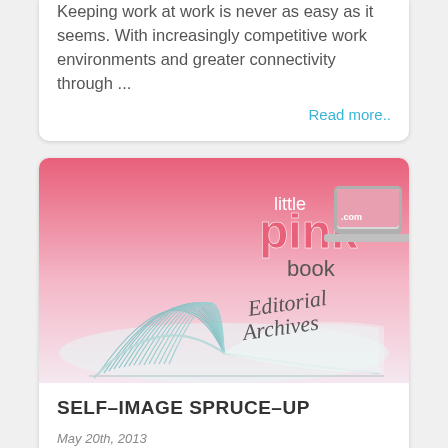Keeping work at work is never as easy as it seems. With increasingly competitive work environments and greater connectivity through ...
Read more..
[Figure (illustration): Little Pink Book Editorial Archives logo with an open book fanning its pages and a pink gradient background with a pink laptop icon.]
SELF-IMAGE SPRUCE-UP
May 20th, 2013